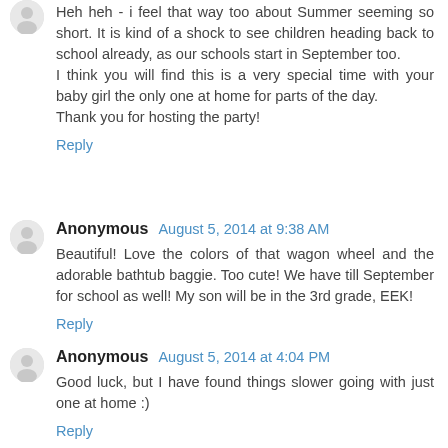Heh heh - i feel that way too about Summer seeming so short. It is kind of a shock to see children heading back to school already, as our schools start in September too.
I think you will find this is a very special time with your baby girl the only one at home for parts of the day.
Thank you for hosting the party!
Reply
Anonymous  August 5, 2014 at 9:38 AM
Beautiful! Love the colors of that wagon wheel and the adorable bathtub baggie. Too cute! We have till September for school as well! My son will be in the 3rd grade, EEK!
Reply
Anonymous  August 5, 2014 at 4:04 PM
Good luck, but I have found things slower going with just one at home :)
Reply